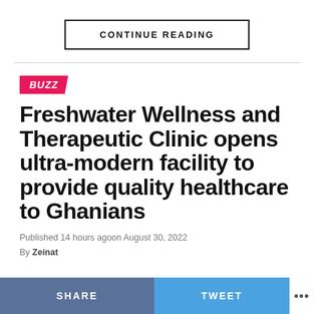CONTINUE READING
BUZZ
Freshwater Wellness and Therapeutic Clinic opens ultra-modern facility to provide quality healthcare to Ghanians
Published 14 hours agoon August 30, 2022
By Zeinat
SHARE  TWEET  ...